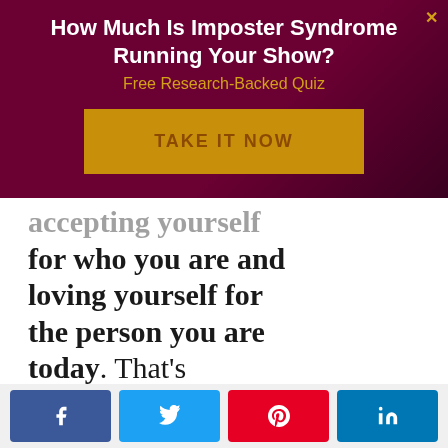How Much Is Imposter Syndrome Running Your Show?
Free Research-Backed Quiz
TAKE IT NOW
accepting yourself for who you are and loving yourself for the person you are today. That's completely impossible if you're constantly in
[Figure (infographic): Social share buttons: Facebook, Twitter, Pinterest, LinkedIn]